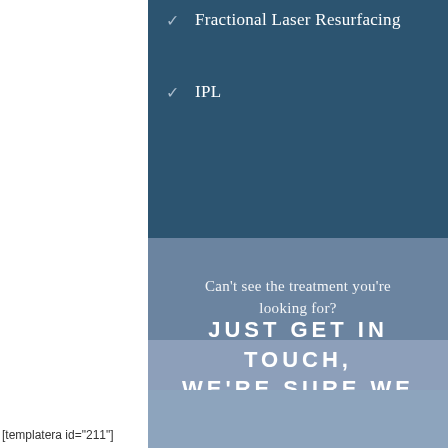Fractional Laser Resurfacing
IPL
Can't see the treatment you're looking for?
JUST GET IN TOUCH, WE'RE SURE WE CAN HELP.
[Figure (other): Light blue decorative background panel at the bottom of the page]
[templatera id="211"]